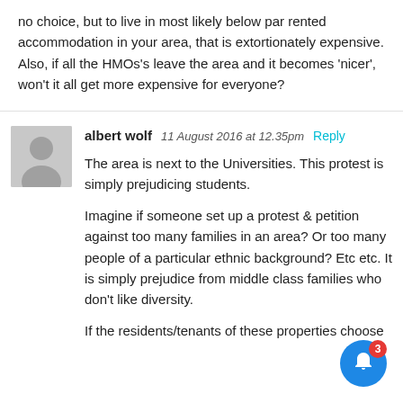no choice, but to live in most likely below par rented accommodation in your area, that is extortionately expensive. Also, if all the HMOs's leave the area and it becomes 'nicer', won't it all get more expensive for everyone?
albert wolf  11 August 2016  at 12.35pm  Reply
The area is next to the Universities. This protest is simply prejudicing students.
Imagine if someone set up a protest & petition against too many families in an area? Or too many people of a particular ethnic background? Etc etc. It is simply prejudice from middle class families who don't like diversity.
If the residents/tenants of these properties choose